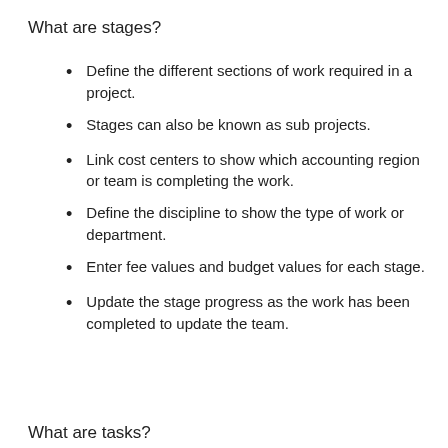What are stages?
Define the different sections of work required in a project.
Stages can also be known as sub projects.
Link cost centers to show which accounting region or team is completing the work.
Define the discipline to show the type of work or department.
Enter fee values and budget values for each stage.
Update the stage progress as the work has been completed to update the team.
What are tasks?